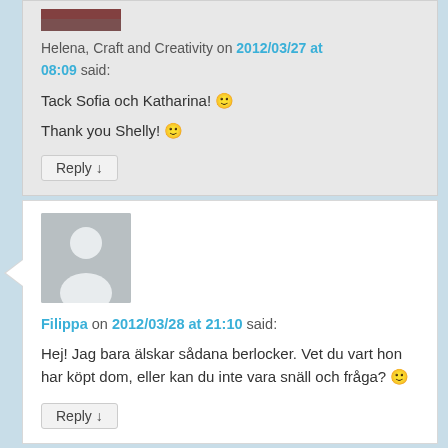[Figure (photo): Small avatar thumbnail image, partially cropped at top]
Helena, Craft and Creativity on 2012/03/27 at 08:09 said:
Tack Sofia och Katharina! 🙂
Thank you Shelly! 🙂
Reply ↓
[Figure (illustration): Generic user avatar placeholder (grey background with white person silhouette)]
Filippa on 2012/03/28 at 21:10 said:
Hej! Jag bara älskar sådana berlocker. Vet du vart hon har köpt dom, eller kan du inte vara snäll och fråga? 🙂
Reply ↓